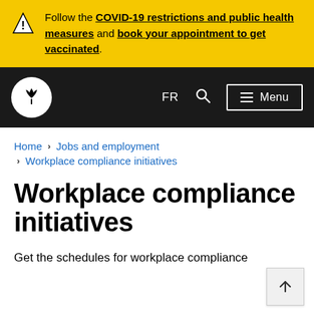Follow the COVID-19 restrictions and public health measures and book your appointment to get vaccinated.
[Figure (logo): Ontario government trillium logo in white circle on black nav bar]
FR | Search | Menu
Home > Jobs and employment > Workplace compliance initiatives
Workplace compliance initiatives
Get the schedules for workplace compliance